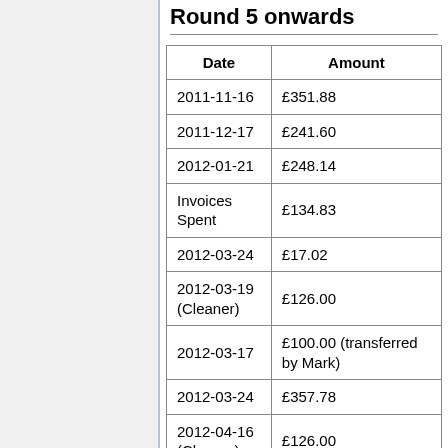Round 5 onwards
| Date | Amount |
| --- | --- |
| 2011-11-16 | £351.88 |
| 2011-12-17 | £241.60 |
| 2012-01-21 | £248.14 |
| Invoices Spent | £134.83 |
| 2012-03-24 | £17.02 |
| 2012-03-19
(Cleaner) | £126.00 |
| 2012-03-17 | £100.00 (transferred by Mark) |
| 2012-03-24 | £357.78 |
| 2012-04-16
(Cleaner) | £126.00 |
| 2012-05-21
(Cleaner) | £45.00 |
| 2012-05-21 |  |